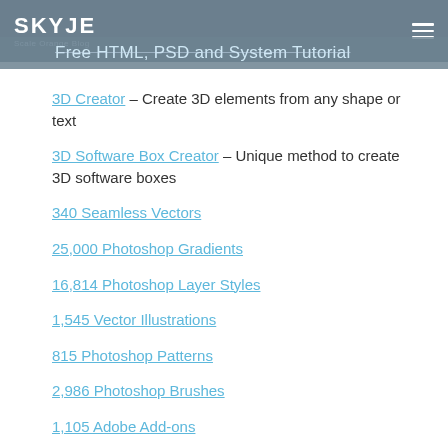SKYJE - Scale Orange Blog
Free HTML, PSD and System Tutorial
3D Creator – Create 3D elements from any shape or text
3D Software Box Creator – Unique method to create 3D software boxes
340 Seamless Vectors
25,000 Photoshop Gradients
16,814 Photoshop Layer Styles
1,545 Vector Illustrations
815 Photoshop Patterns
2,986 Photoshop Brushes
1,105 Adobe Add-ons
782 Vector Elements